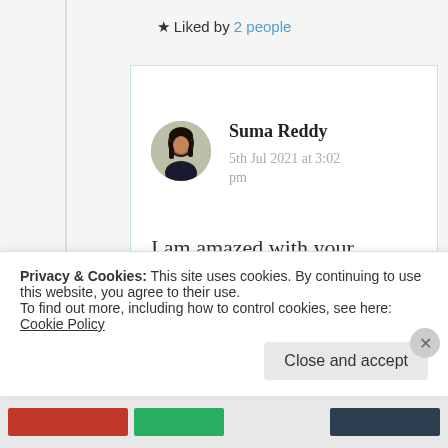★ Liked by 2 people
Suma Reddy
5th Jul 2021 at 3:02 pm
I am amazed with your admiration but each of us are great in our own
Privacy & Cookies: This site uses cookies. By continuing to use this website, you agree to their use.
To find out more, including how to control cookies, see here: Cookie Policy
Close and accept